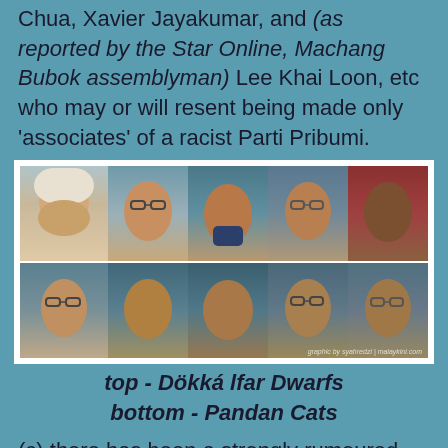Chua, Xavier Jayakumar, and (as reported by the Star Online, Machang Bubok assemblyman) Lee Khai Loon, etc who may or will resent being made only 'associates' of a racist Parti Pribumi.
[Figure (photo): Two rows of head-shot photos of political figures. Top row shows 5 individuals, bottom row shows 5 individuals. Caption below reads 'graphic by syahredzi | malaykini.com'.]
top - Dökkálfar Dwarfs
bottom - Pandan Cats
(c) there has been a strongly rumoured nexus between Azmin Ali and Hishamuddin Hussein who are alleged to belong to the next UMNO-PAS based